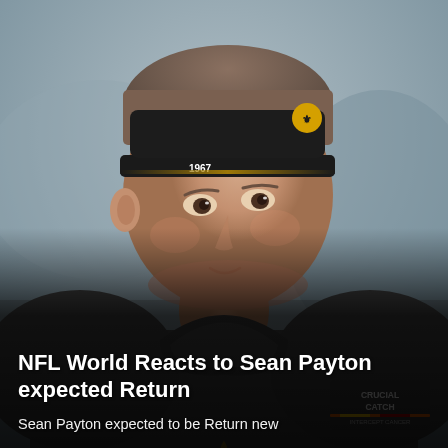[Figure (photo): Close-up photo of NFL coach Sean Payton wearing a black New Orleans Saints visor cap with '1967' text, and a dark gray hoodie with 'CRUCIAL CATCH INTERCEPT CANCER' logo on the chest. He is looking to the right with a slight expression. Background is blurred outdoor setting.]
NFL World Reacts to Sean Payton expected Return
Sean Payton expected to be Return new